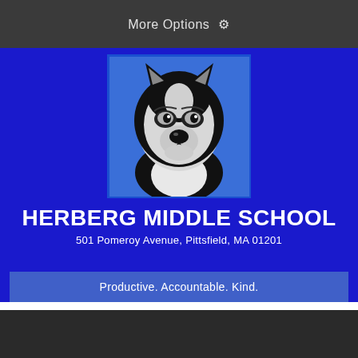More Options ⚙
[Figure (logo): Herberg Middle School husky mascot logo — a black and white husky dog head facing left, on a blue background]
HERBERG MIDDLE SCHOOL
501 Pomeroy Avenue, Pittsfield, MA 01201
Productive. Accountable. Kind.